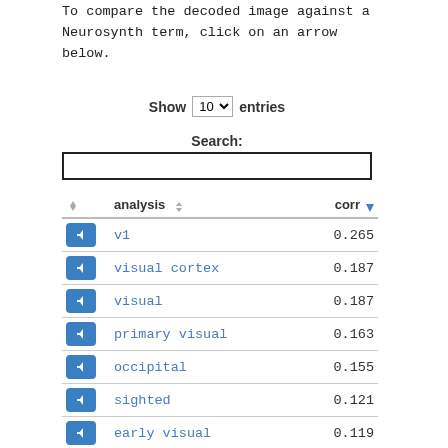To compare the decoded image against a Neurosynth term, click on an arrow below.
Show 10 entries
Search:
|  | analysis | corr▼ |
| --- | --- | --- |
| ← | v1 | 0.265 |
| ← | visual cortex | 0.187 |
| ← | visual | 0.187 |
| ← | primary visual | 0.163 |
| ← | occipital | 0.155 |
| ← | sighted | 0.121 |
| ← | early visual | 0.119 |
| ← | lingual | 0.115 |
| ← | lingual gyrus | 0.109 |